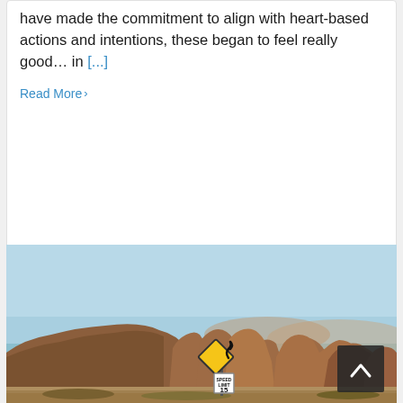have made the commitment to align with heart-based actions and intentions, these began to feel really good… in [...]
Read More >
[Figure (photo): Desert landscape with red rock formations and mountains under a clear blue sky. In the foreground is a yellow diamond-shaped winding road sign and a speed limit 15 sign on a post. A dark square back-to-top button with an upward chevron is overlaid in the lower right area of the image.]